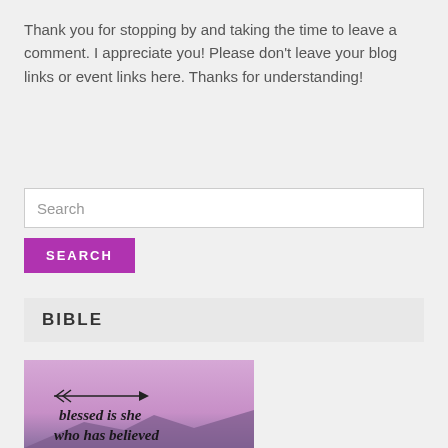Thank you for stopping by and taking the time to leave a comment. I appreciate you! Please don't leave your blog links or event links here. Thanks for understanding!
Search
SEARCH
BIBLE
[Figure (photo): Purple-pink sky background with an arrow graphic and cursive/handwritten text reading 'blessed is she who has believed']